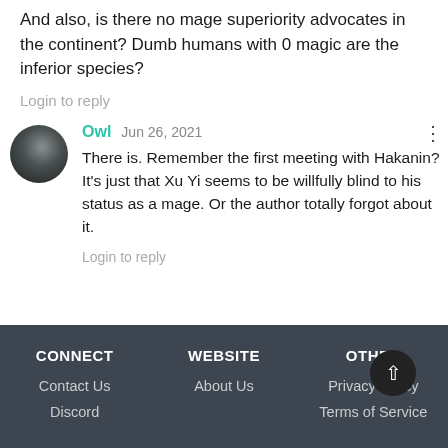And also, is there no mage superiority advocates in the continent? Dumb humans with 0 magic are the inferior species?
Login to reply
Owl  Jun 26, 2021
There is. Remember the first meeting with Hakanin? It's just that Xu Yi seems to be willfully blind to his status as a mage. Or the author totally forgot about it.
Login to reply
CONNECT | Contact Us | Discord | WEBSITE | About Us | OTHER | Privacy Policy | Terms of Service